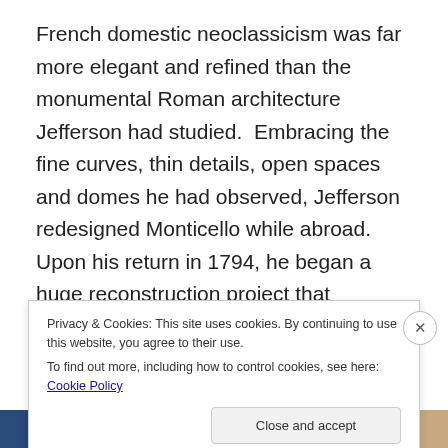French domestic neoclassicism was far more elegant and refined than the monumental Roman architecture Jefferson had studied.  Embracing the fine curves, thin details, open spaces and domes he had observed, Jefferson redesigned Monticello while abroad.  Upon his return in 1794, he began a huge reconstruction project that included taring down the second floor, doubling the floor space and incorporating porticos along the North and South faces.  The resulting home is airy, serene and meticulously designed down to the details.  Displays of Jefferson's possessions, or at least contemporary
Privacy & Cookies: This site uses cookies. By continuing to use this website, you agree to their use.
To find out more, including how to control cookies, see here: Cookie Policy